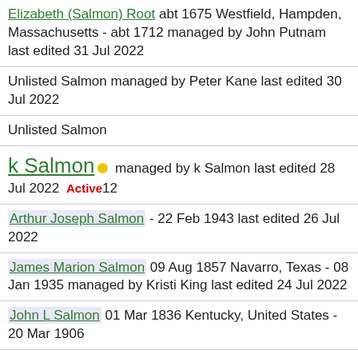Elizabeth (Salmon) Root abt 1675 Westfield, Hampden, Massachusetts - abt 1712 managed by John Putnam last edited 31 Jul 2022
Unlisted Salmon managed by Peter Kane last edited 30 Jul 2022
Unlisted Salmon
k Salmon • managed by k Salmon last edited 28 Jul 2022  Active 12
Arthur Joseph Salmon - 22 Feb 1943 last edited 26 Jul 2022
James Marion Salmon 09 Aug 1857 Navarro, Texas - 08 Jan 1935 managed by Kristi King last edited 24 Jul 2022
John L Salmon 01 Mar 1836 Kentucky, United States - 20 Mar 1906
Joseph Salmon Sr. 06 Apr 1806 Greenup, Kentucky, United States - 10 Nov 1863 managed by